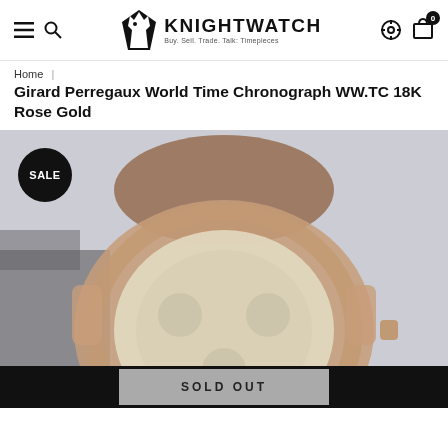KNIGHTWATCH — Buy. Sell. Trade. Talk: Timepieces
Home | Girard Perregaux World Time Chronograph WW.TC 18K Rose Gold
Girard Perregaux World Time Chronograph WW.TC 18K Rose Gold
[Figure (photo): Close-up blurred photo of a Girard Perregaux World Time Chronograph watch with rose gold case and brown leather strap, shown face-forward with cream dial and chronograph subdials. A black circular SALE badge is overlaid in the top-left corner.]
SOLD OUT